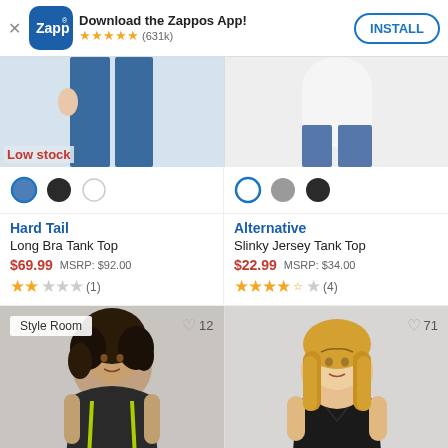Download the Zappos App! ★★★★★ (631k) INSTALL
Low stock
[Figure (photo): Color swatches: blue pattern (selected), dark/black, white]
[Figure (photo): Color swatches: white (selected, with blue border), gray, dark/black]
Hard Tail
Long Bra Tank Top
$69.99  MSRP: $92.00
★★☆☆☆ (1)
Alternative
Slinky Jersey Tank Top
$22.99  MSRP: $34.00
★★★★½ (4)
[Figure (photo): Woman with curly dark hair wearing a dark sleeveless top with yellow stripe accents, Style Room label, heart count 12]
[Figure (photo): Blonde woman wearing a black V-neck tank top, heart count 71]